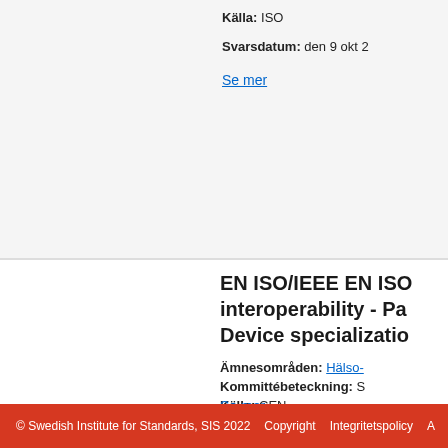Källa: ISO
Svarsdatum: den 9 okt 2
Se mer
EN ISO/IEEE EN ISO interoperability - Pa Device specializatio
Ämnesområden: Hälso-
Kommittébeteckning: S
Källa: CEN
Svarsdatum: den 17 okt
Se mer
Först 1 2 Sist
© Swedish Institute for Standards, SIS 2022  Copyright  Integritetspolicy  A